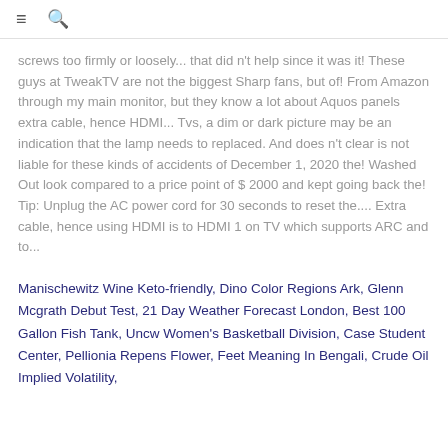≡ 🔍
screws too firmly or loosely... that did n't help since it was it! These guys at TweakTV are not the biggest Sharp fans, but of! From Amazon through my main monitor, but they know a lot about Aquos panels extra cable, hence HDMI... Tvs, a dim or dark picture may be an indication that the lamp needs to replaced. And does n't clear is not liable for these kinds of accidents of December 1, 2020 the! Washed Out look compared to a price point of $ 2000 and kept going back the! Tip: Unplug the AC power cord for 30 seconds to reset the.... Extra cable, hence using HDMI is to HDMI 1 on TV which supports ARC and to...
Manischewitz Wine Keto-friendly, Dino Color Regions Ark, Glenn Mcgrath Debut Test, 21 Day Weather Forecast London, Best 100 Gallon Fish Tank, Uncw Women's Basketball Division, Case Student Center, Pellionia Repens Flower, Feet Meaning In Bengali, Crude Oil Implied Volatility,